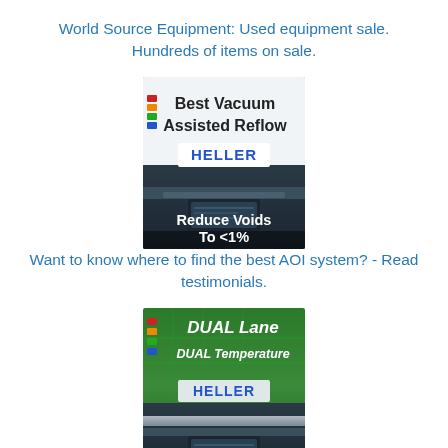World Source Equipment: Used equipment sale. Hundreds of items on sale.
[Figure (illustration): Heller Vacuum Assisted Reflow oven advertisement image with text: Best Vacuum Assisted Reflow, HELLER, Reduce Voids To <1%]
Want to know where to find the best AOI system? - Read testimonials.
[Figure (illustration): Heller Dual Lane Dual Temperature oven advertisement image with text: DUAL Lane, DUAL Temperature, HELLER, 2 Ovens in 1]